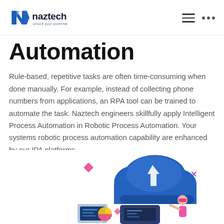naztech — unlock your potential
Automation
Rule-based, repetitive tasks are often time-consuming when done manually. For example, instead of collecting phone numbers from applications, an RPA tool can be trained to automate the task. Naztech engineers skillfully apply Intelligent Process Automation in Robotic Process Automation. Your systems robotic process automation capability are enhanced by our IPA platforms.
[Figure (illustration): Isometric illustration of a person working with cloud computing and robotic process automation, featuring a cloud with an upload arrow, a laptop, decorative geometric shapes in pink and purple, and a figure in pink.]